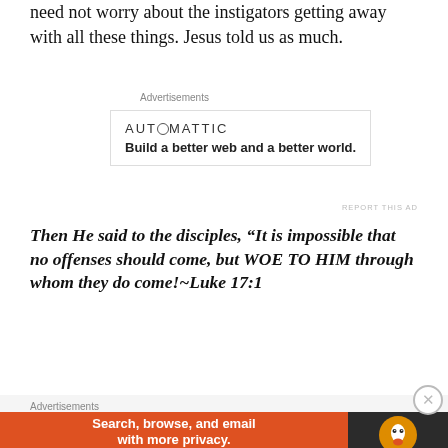need not worry about the instigators getting away with all these things. Jesus told us as much.
Advertisements
[Figure (other): Automattic advertisement: logo and tagline 'Build a better web and a better world.']
REPORT THIS AD
Then He said to the disciples, “It is impossible that no offenses should come, but WOE TO HIM through whom they do come!~Luke 17:1
When the Son of God says, “Woe to him,” we know they will be dealt with in God’s time. Our job is to continue to speak the truth, love on others, encourage the body of Christ and share the gospel with those we meet.
Advertisements
[Figure (other): DuckDuckGo advertisement: 'Search, browse, and email with more privacy. All in One Free App']
REPORT THIS AD